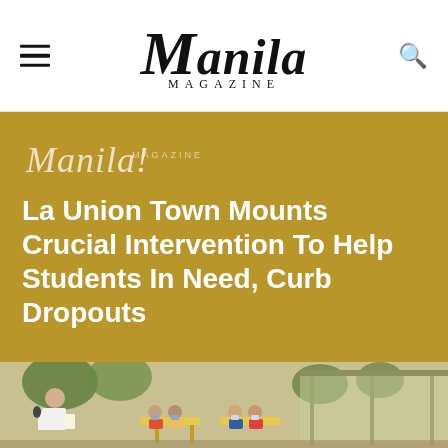Manila Magazine
[Figure (logo): Manila! Magazine script logo watermark on gold background]
La Union Town Mounts Crucial Intervention To Help Students In Need, Curb Dropouts
[Figure (photo): Outdoor community meeting scene: a man holding a microphone and papers stands at left, speaking to a group of seated people wearing face masks at tables under an open-air pavilion with trees and green structures visible in background]